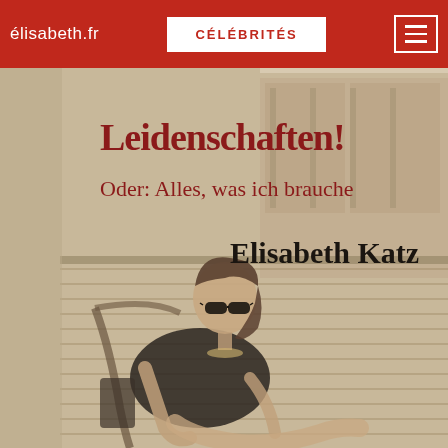élisabeth.fr | CÉLÉBRITÉS
[Figure (photo): Book cover for 'Leidenschaften! Oder: Alles, was ich brauche' by Elisabeth Katz. The cover shows a black-and-white photo of a woman (Elisabeth Katz) wearing sunglasses and a black dress, sitting relaxed on what appears to be a ship deck or boardwalk. The title 'Leidenschaften!' is printed in large dark red serif text, followed by 'Oder: Alles, was ich brauche' in smaller dark red text, and 'Elisabeth Katz' in large black serif text.]